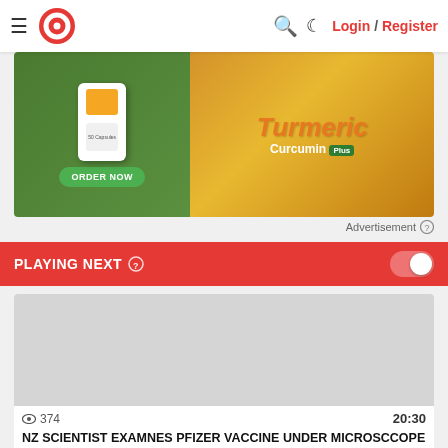≡ [logo] 🔍 ☾ Login / Register
[Figure (photo): Advertisement banner for Turmeric Curcumin Plus supplement with an ORDER NOW button on a green background on the left, and turmeric root imagery on the right with orange/gold background.]
Advertisement ⓘ
PLAYING NEXT ⓘ
[Figure (screenshot): Video thumbnail placeholder — grey rectangle showing a preview for a video titled NZ SCIENTIST EXAMNES PFIZER VACCINE UNDER MICROSCCOPE PART 1/2, with 374 views and duration 20:30.]
👁 374   20:30
NZ SCIENTIST EXAMNES PFIZER VACCINE UNDER MICROSCCOPE PART 1/2